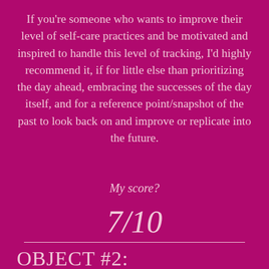If you're someone who wants to improve their level of self-care practices and be motivated and inspired to handle this level of tracking, I'd highly recommend it, if for little else than prioritizing the day ahead, embracing the successes of the day itself, and for a reference point/snapshot of the past to look back on and improve or replicate into the future.
My score?
7/10
OBJECT #2: